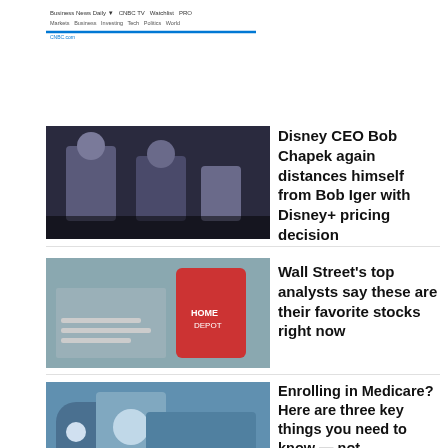[Figure (screenshot): Website header/logo bar with text and blue underline]
[Figure (photo): Two men in suits standing, dark background, Disney executives]
Disney CEO Bob Chapek again distances himself from Bob Iger with Disney+ pricing decision
[Figure (photo): Home Depot store aisle with red cart and shelves]
Wall Street's top analysts say these are their favorite stocks right now
[Figure (photo): Healthcare worker in mask examining elderly patient]
Enrolling in Medicare? Here are three key things you need to know — not understanding one can lead to a lifelong penalty
[Figure (photo): Novavax COVID-19 vaccine box packaging]
FDA authorizes emergency use for Novavax Covid-19 vaccine for ages 12 to 17
[Figure (photo): Colorful metaverse/digital art scene with lights]
Web3 is in chaos and metaverses are in their